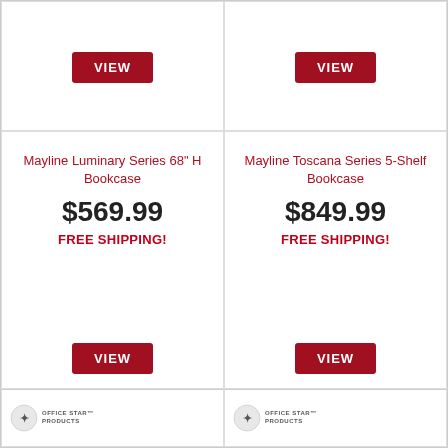[Figure (other): VIEW button (dark red) for Mayline Luminary Series product]
[Figure (other): VIEW button (dark red) for Mayline Toscana Series product]
Mayline Luminary Series 68" H Bookcase
$569.99
FREE SHIPPING!
[Figure (other): VIEW button (dark red) for Mayline Luminary Series product - bottom]
Mayline Toscana Series 5-Shelf Bookcase
$849.99
FREE SHIPPING!
[Figure (other): VIEW button (dark red) for Mayline Toscana Series product - bottom]
[Figure (logo): Office Star Products logo - left]
[Figure (logo): Office Star Products logo - right]